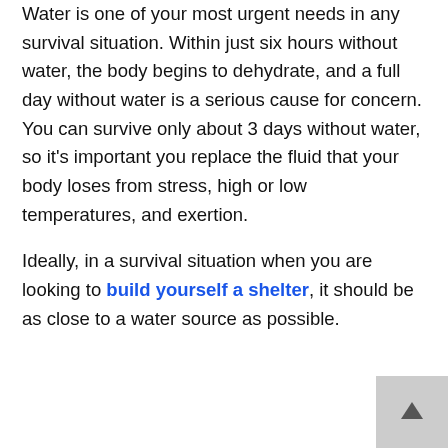Water is one of your most urgent needs in any survival situation. Within just six hours without water, the body begins to dehydrate, and a full day without water is a serious cause for concern. You can survive only about 3 days without water, so it's important you replace the fluid that your body loses from stress, high or low temperatures, and exertion.
Ideally, in a survival situation when you are looking to build yourself a shelter, it should be as close to a water source as possible.